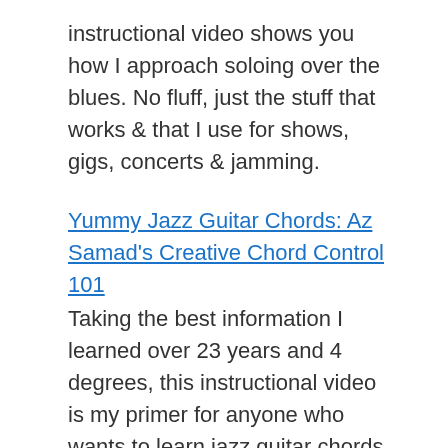instructional video shows you how I approach soloing over the blues. No fluff, just the stuff that works & that I use for shows, gigs, concerts & jamming.
Yummy Jazz Guitar Chords: Az Samad's Creative Chord Control 101
Taking the best information I learned over 23 years and 4 degrees, this instructional video is my primer for anyone who wants to learn jazz guitar chords & actually use them. Lots of good material here!
Kelas Asas Gitar Neo Soul
The first time I made an instructional video in Malay! It was well received and it led me to making